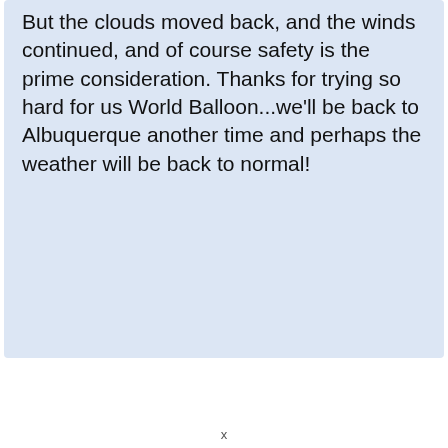But the clouds moved back, and the winds continued, and of course safety is the prime consideration. Thanks for trying so hard for us World Balloon...we'll be back to Albuquerque another time and perhaps the weather will be back to normal!
x